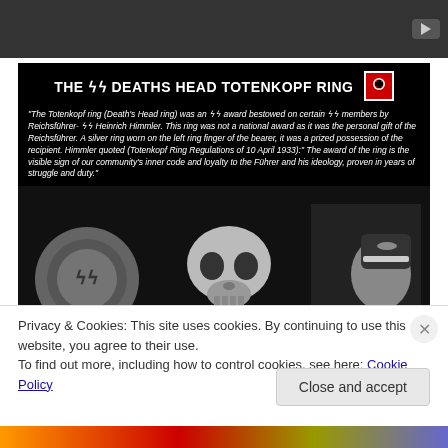[Figure (screenshot): Video player placeholder with dark background and YouTube play button icon in top right]
[Figure (photo): Black background image titled 'THE SS DEATHS HEAD TOTENKOPF RING' with Nazi swastika flag icon. Contains italic text describing the Totenkopf ring as an SS award bestowed by Reichsführer-SS Heinrich Himmler. Shows three photographs: a silver ring with SS insignia, a skull, and a uniformed SS officer.]
Privacy & Cookies: This site uses cookies. By continuing to use this website, you agree to their use.
To find out more, including how to control cookies, see here: Cookie Policy
Close and accept